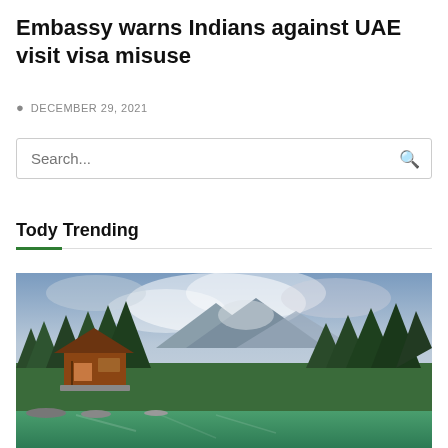Embassy warns Indians against UAE visit visa misuse
DECEMBER 29, 2021
Search...
Tody Trending
[Figure (photo): Mountain landscape with wooden cabin beside a lake, surrounded by tall pine trees and misty mountains in the background]